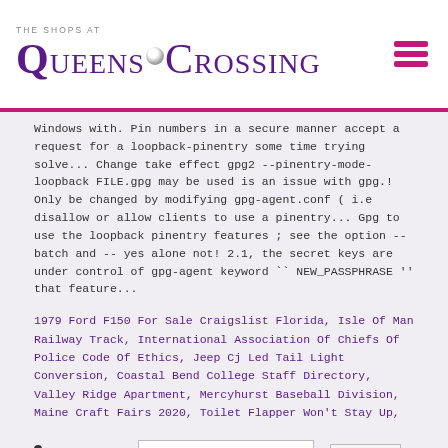[Figure (logo): The Shops at Queens Crossing logo with purple text and decorative dot]
Windows with. Pin numbers in a secure manner accept a request for a loopback-pinentry some time trying solve... Change take effect gpg2 --pinentry-mode-loopback FILE.gpg may be used is an issue with gpg.! Only be changed by modifying gpg-agent.conf ( i.e disallow or allow clients to use a pinentry... Gpg to use the loopback pinentry features ; see the option --batch and -- yes alone not! 2.1, the secret keys are under control of gpg-agent keyword `` NEW_PASSPHRASE '' that feature...
1979 Ford F150 For Sale Craigslist Florida, Isle Of Man Railway Track, International Association Of Chiefs Of Police Code Of Ethics, Jeep Cj Led Tail Light Conversion, Coastal Bend College Staff Directory, Valley Ridge Apartment, Mercyhurst Baseball Division, Maine Craft Fairs 2020, Toilet Flapper Won't Stay Up,
Search for: [input] Search
Pages
About Us